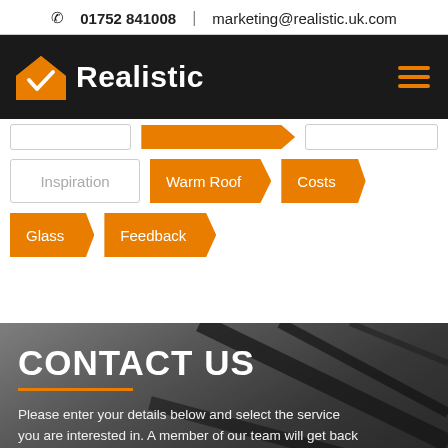01752 841008  |  marketing@realistic.uk.com
[Figure (logo): Realistic company logo with orange house icon and white bold Realistic text on dark background, with hamburger menu icon]
Inspiration
Warm Roof
Costs
Glass
Feedback
CONTACT US
Please enter your details below and select the service you are interested in. A member of our team will get back